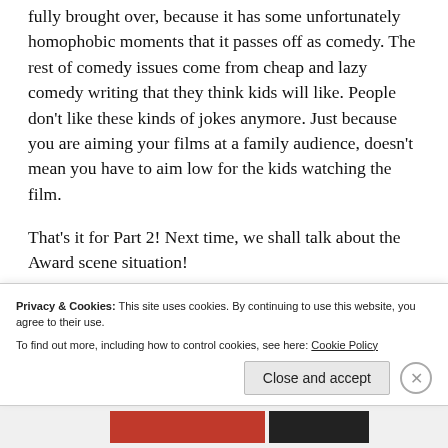fully brought over, because it has some unfortunately homophobic moments that it passes off as comedy. The rest of comedy issues come from cheap and lazy comedy writing that they think kids will like. People don't like these kinds of jokes anymore. Just because you are aiming your films at a family audience, doesn't mean you have to aim low for the kids watching the film.
That's it for Part 2! Next time, we shall talk about the Award scene situation!
Privacy & Cookies: This site uses cookies. By continuing to use this website, you agree to their use. To find out more, including how to control cookies, see here: Cookie Policy